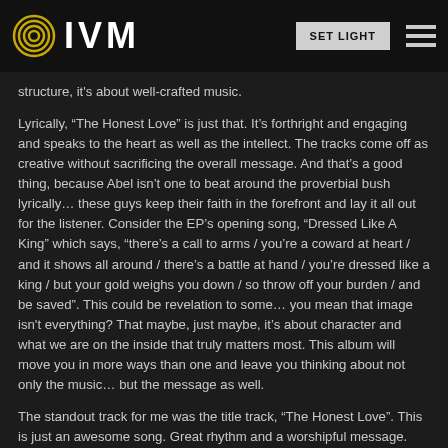IVM
structure, it's about well-crafted music.
Lyrically, “The Honest Love” is just that. It’s forthright and engaging and speaks to the heart as well as the intellect. The tracks come off as creative without sacrificing the overall message. And that’s a good thing, because Abel isn’t one to beat around the proverbial bush lyrically… these guys keep their faith in the forefront and lay it all out for the listener. Consider the EP’s opening song, “Dressed Like A King” which says, “there’s a call to arms / you’re a coward at heart / and it shows all around / there’s a battle at hand / you’re dressed like a king / but your gold weighs you down / so throw off your burden / and be saved”. This could be revelation to some… you mean that image isn't everything? That maybe, just maybe, it’s about character and what we are on the inside that truly matters most. This album will move you in more ways than one and leave you thinking about not only the music… but the message as well.
The standout track for me was the title track, “The Honest Love”. This is just an awesome song. Great rhythm and a worshipful message.